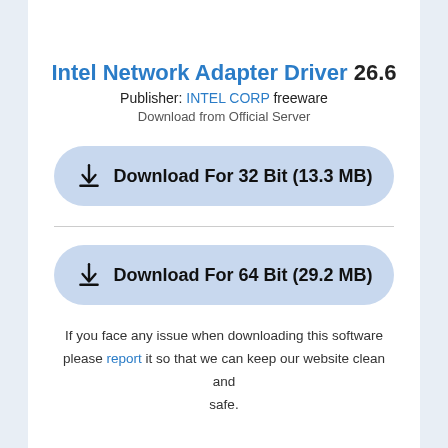Intel Network Adapter Driver 26.6
Publisher: INTEL CORP freeware
Download from Official Server
Download For 32 Bit (13.3 MB)
Download For 64 Bit (29.2 MB)
If you face any issue when downloading this software please report it so that we can keep our website clean and safe.